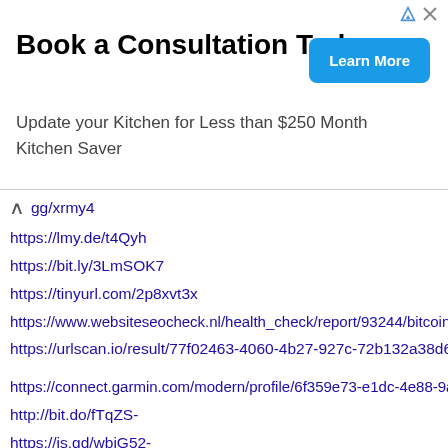[Figure (infographic): Advertisement banner: 'Book a Consultation Today' with subtitle 'Update your Kitchen for Less than $250 Month Kitchen Saver' and a blue 'Learn More' button. Has ad icons top right.]
gg/xrmy4
https://lmy.de/t4Qyh
https://bit.ly/3LmSOK7
https://tinyurl.com/2p8xvt3x
https://www.websiteseocheck.nl/health_check/report/93244/bitcoinblack.netcommu
https://urlscan.io/result/77f02463-4060-4b27-927c-72b132a38d65/
https://connect.garmin.com/modern/profile/6f359e73-e1dc-4e88-9ae7-104b6ecfde
http://bit.do/fTqZS-
https://is.gd/wbiG52-
https://s.id/-W69k
http://gg.gg/xrmyh
https://lmy.de/kv0KR
https://bit.ly/3ozLQaT
https://tinyurl.com/2p9d2jsr
https://www.websiteseocheck.nl/health_check/report/93245/connect.garmin.comme 8-9ae7-104b6ecfde09
https://urlscan.io/result/de2a9e03-210a-40b1-a077-8b8a0c6f4b8d/